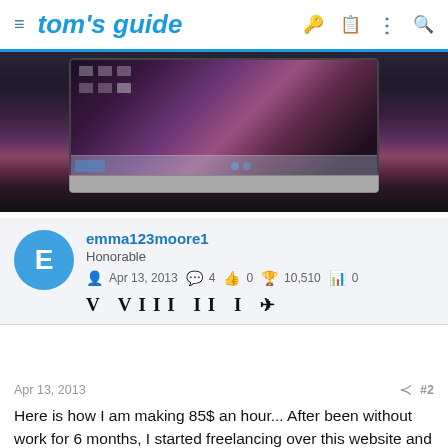tom's guide
[Figure (photo): Laptop computer with dark purple/maroon gradient wallpaper on screen, showing desktop icons and taskbar]
emma123moore1
Honorable
Apr 13, 2013  4  0  10,510  0
V VIII II I 🏃
Apr 13, 2013  #2
Here is how I am making 85$ an hour... After been without work for 6 months, I started freelancing over this website and now I couldn't